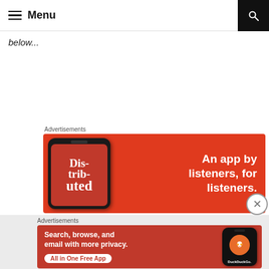Menu
below...
Advertisements
[Figure (screenshot): Red advertisement banner for a podcast app showing a phone with 'Distributed' app and text 'An app by listeners, for listeners.']
Advertisements
[Figure (screenshot): Red DuckDuckGo advertisement banner with text 'Search, browse, and email with more privacy. All in One Free App' with phone showing DuckDuckGo logo.]